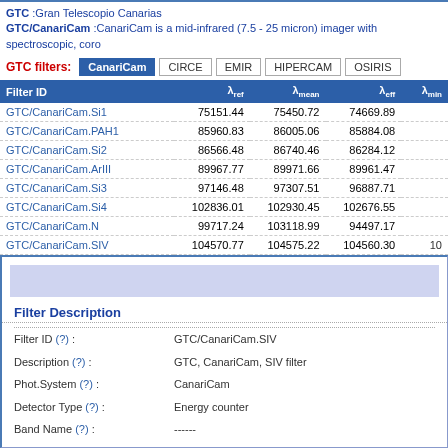GTC :Gran Telescopio Canarias
GTC/CanariCam :CanariCam is a mid-infrared (7.5 - 25 micron) imager with spectroscopic, coro...
GTC filters: CanariCam | CIRCE | EMIR | HIPERCAM | OSIRIS
| Filter ID | λref | λmean | λeff | λmin |
| --- | --- | --- | --- | --- |
| GTC/CanariCam.Si1 | 75151.44 | 75450.72 | 74669.89 |  |
| GTC/CanariCam.PAH1 | 85960.83 | 86005.06 | 85884.08 |  |
| GTC/CanariCam.Si2 | 86566.48 | 86740.46 | 86284.12 |  |
| GTC/CanariCam.ArIII | 89967.77 | 89971.66 | 89961.47 |  |
| GTC/CanariCam.Si3 | 97146.48 | 97307.51 | 96887.71 |  |
| GTC/CanariCam.Si4 | 102836.01 | 102930.45 | 102676.55 |  |
| GTC/CanariCam.N | 99717.24 | 103118.99 | 94497.17 |  |
| GTC/CanariCam.SIV | 104570.77 | 104575.22 | 104560.30 | 10... |
Filter Description
Filter ID (?) : GTC/CanariCam.SIV
Description (?) : GTC, CanariCam, SIV filter
Phot.System (?) : CanariCam
Detector Type (?) : Energy counter
Band Name (?) : ------
Obs. Facility (?) : GTC
Instrument (?) : CanariCam